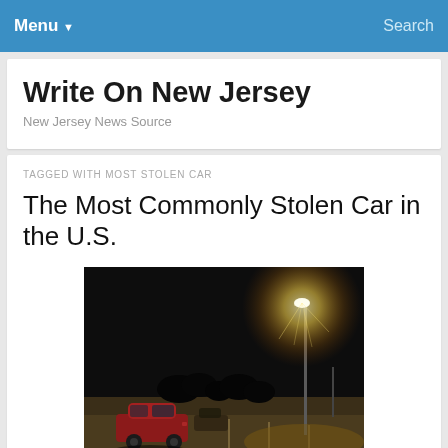Menu ▾   Search
Write On New Jersey
New Jersey News Source
TAGGED WITH MOST STOLEN CAR
The Most Commonly Stolen Car in the U.S.
[Figure (photo): Night photograph of an empty parking lot with a red car parked on the left side and a bright streetlight on the right illuminating the dark scene]